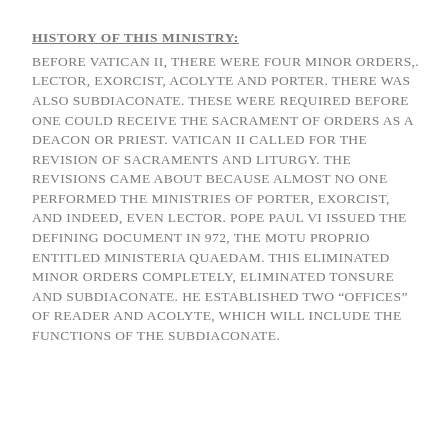HISTORY OF THIS MINISTRY:
BEFORE VATICAN II, THERE WERE FOUR MINOR ORDERS,. LECTOR, EXORCIST, ACOLYTE AND PORTER. THERE WAS ALSO SUBDIACONATE. THESE WERE REQUIRED BEFORE ONE COULD RECEIVE THE SACRAMENT OF ORDERS AS A DEACON OR PRIEST. VATICAN II CALLED FOR THE REVISION OF SACRAMENTS AND LITURGY. THE REVISIONS CAME ABOUT BECAUSE ALMOST NO ONE PERFORMED THE MINISTRIES OF PORTER, EXORCIST, AND INDEED, EVEN LECTOR. POPE PAUL VI ISSUED THE DEFINING DOCUMENT IN 972, THE MOTU PROPRIO ENTITLED MINISTERIA QUAEDAM. THIS ELIMINATED MINOR ORDERS COMPLETELY, ELIMINATED TONSURE AND SUBDIACONATE. HE ESTABLISHED TWO “OFFICES” OF READER AND ACOLYTE, WHICH WILL INCLUDE THE FUNCTIONS OF THE SUBDIACONATE.